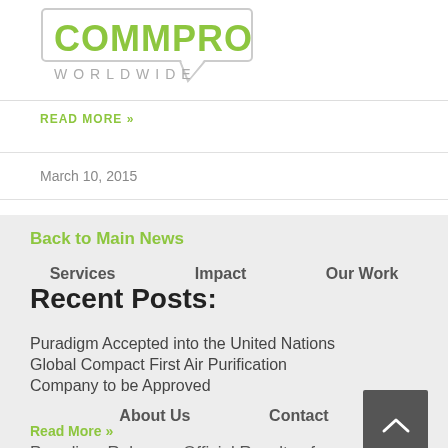[Figure (logo): COMMPRO WORLDWIDE logo — green bold text in a speech bubble rectangle with grey WORLDWIDE below]
READ MORE »
March 10, 2015
Back to Main News
Services    Impact    Our Work
Recent Posts:
Puradigm Accepted into the United Nations Global Compact First Air Purification Company to be Approved
About Us    Contact
Read More »
Puradigm Releases Official Results of